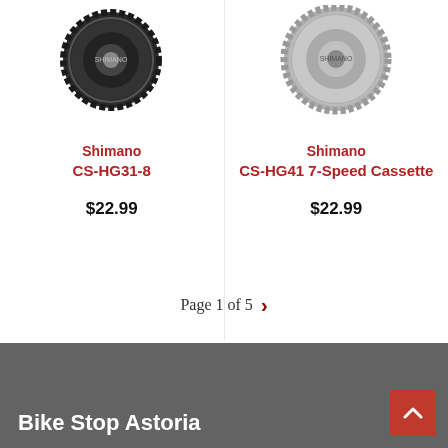[Figure (photo): Shimano bicycle cassette sprocket gear, dark metallic, viewed from top-front angle]
Shimano
CS-HG31-8
$22.99
[Figure (photo): Shimano bicycle cassette sprocket gear, silver metallic, viewed from top-front angle]
Shimano
CS-HG41 7-Speed Cassette
$22.99
Page 1 of 5
Bike Stop Astoria